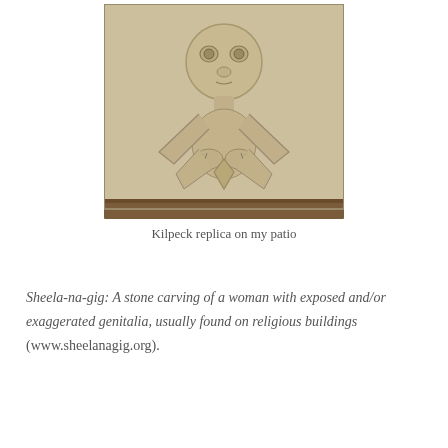[Figure (photo): A stone carving (Sheela-na-gig) replica showing a humanoid female figure with large eyes, wide arms pulled back, and exaggerated body, carved in sandy/beige stone, mounted on a wooden base.]
Kilpeck replica on my patio
Sheela-na-gig: A stone carving of a woman with exposed and/or exaggerated genitalia, usually found on religious buildings (www.sheelanagig.org).